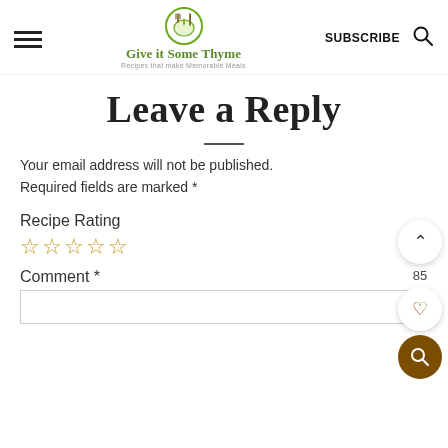Give it Some Thyme — Recipes that make Memorable Meals
Leave a Reply
Your email address will not be published. Required fields are marked *
Recipe Rating
☆☆☆☆☆
Comment *